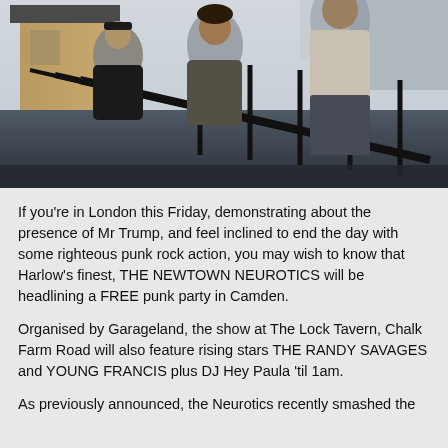[Figure (photo): Three people standing on or near a staircase with metal railings, outdoors, with a building visible in the background under an overcast sky.]
If you're in London this Friday, demonstrating about the presence of Mr Trump, and feel inclined to end the day with some righteous punk rock action, you may wish to know that Harlow's finest, THE NEWTOWN NEUROTICS will be headlining a FREE punk party in Camden.
Organised by Garageland, the show at The Lock Tavern, Chalk Farm Road will also feature rising stars THE RANDY SAVAGES and YOUNG FRANCIS plus DJ Hey Paula 'til 1am.
As previously announced, the Neurotics recently smashed the